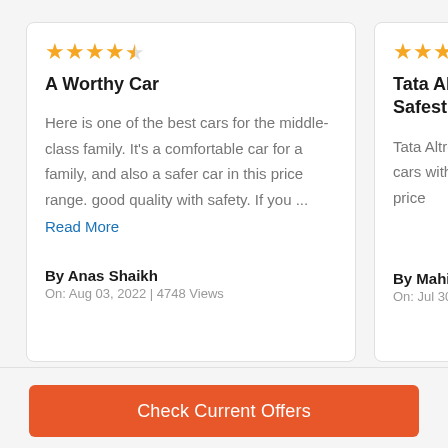[Figure (other): Star rating: 4.5 out of 5 stars (orange stars)]
A Worthy Car
Here is one of the best cars for the middle-class family. It's a comfortable car for a family, and also a safer car in this price range. good quality with safety. If you ...
Read More
By Anas Shaikh
On: Aug 03, 2022 | 4748 Views
[Figure (other): Star rating: 4.5 out of 5 stars (orange stars)]
Tata Altroz One And Safest Car
Tata Altroz is one safest cars with f looks at this price
By Mahi
On: Jul 30, 2022 | 98
Check Current Offers